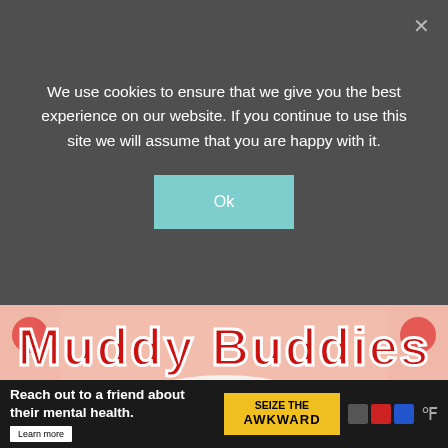We use cookies to ensure that we give you the best experience on our website. If you continue to use this site we will assume that you are happy with it.
Ok
[Figure (photo): A bowl of strawberry muddy buddies / puppy chow snack mix — pink-coated Chex cereal squares and Cheerios-style loops with strawberry candy and M&Ms, shown in a white bowl against a pink background with strawberry decorations and red stylized 'Muddy Buddies' text at the top.]
[Figure (photo): Partial thumbnail strip of additional recipe photos visible below the main image.]
Reach out to a friend about their mental health.
SEIZE THE AWKWARD
Learn more